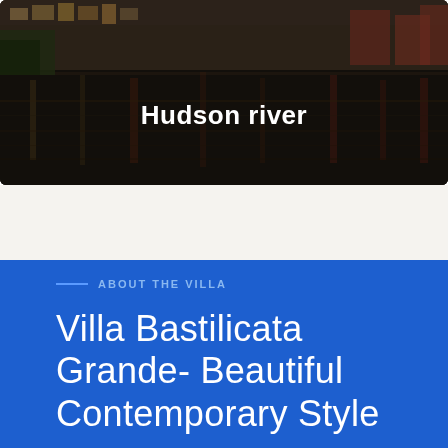[Figure (photo): Waterfront scene with colorful buildings reflecting in dark water, labeled 'Hudson river']
Hudson river
ABOUT THE VILLA
Villa Bastilicata Grande- Beautiful Contemporary Style